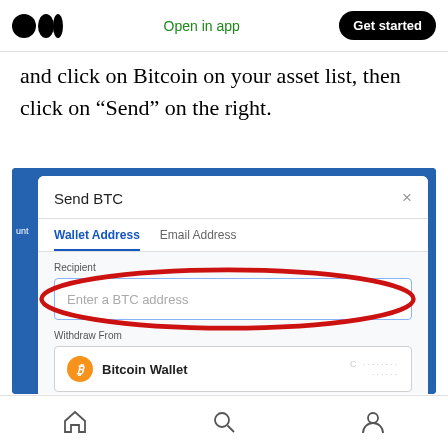Medium app header with logo, Open in app, Get started button
and click on Bitcoin on your asset list, then click on “Send” on the right.
[Figure (screenshot): Screenshot of a 'Send BTC' dialog box showing Wallet Address and Email Address tabs, a Recipient input field with placeholder 'Enter a BTC address' circled in red, and a Withdraw From section showing Bitcoin Wallet.]
Bottom navigation bar with home, search, and profile icons